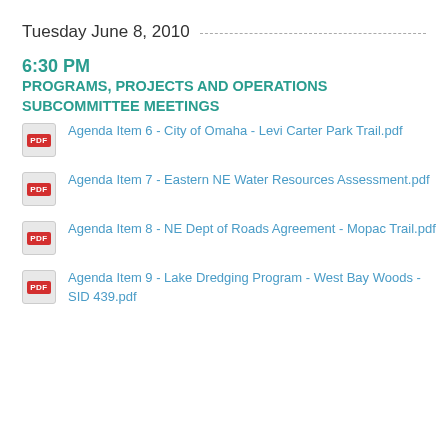Tuesday June 8, 2010
6:30 PM
PROGRAMS, PROJECTS AND OPERATIONS SUBCOMMITTEE MEETINGS
Agenda Item 6 - City of Omaha - Levi Carter Park Trail.pdf
Agenda Item 7 - Eastern NE Water Resources Assessment.pdf
Agenda Item 8 - NE Dept of Roads Agreement - Mopac Trail.pdf
Agenda Item 9 - Lake Dredging Program - West Bay Woods - SID 439.pdf